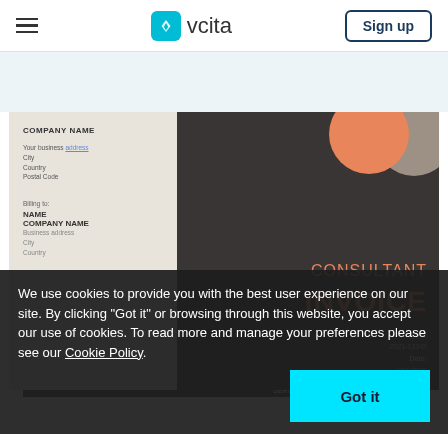vcita — Sign up
[Figure (screenshot): Consultant Invoice template preview from vcita, showing a two-panel invoice: left panel with company name, address, and billing-to fields on a light gray background; right panel dark with orange circles decoration and CONSULTANT INVOICE heading in orange, Invoice No: 2021-12345, Date: 4/01/2022.]
|  | DESCRIPTION | $ / HR | AMOUNT |
| --- | --- | --- | --- |
| 4 | Lorem ipsum dolor sit amet | $50 | $200 |
| 2 | Lorem ipsum dolor sit amet | $40 |  |
| 5 | Lorem ipsum dolor sit amet | $25 |  |
We use cookies to provide you with the best user experience on our site. By clicking "Got it" or browsing through this website, you accept our use of cookies. To read more and manage your preferences please see our Cookie Policy.